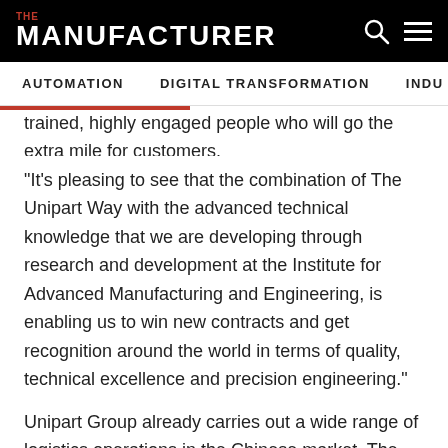THE MANUFACTURER
AUTOMATION | DIGITAL TRANSFORMATION | INDU
trained, highly engaged people who will go the extra mile for customers.
“It’s pleasing to see that the combination of The Unipart Way with the advanced technical knowledge that we are developing through research and development at the Institute for Advanced Manufacturing and Engineering, is enabling us to win new contracts and get recognition around the world in terms of quality, technical excellence and precision engineering.”
Unipart Group already carries out a wide range of logistics operations in the Chinese market. The company operates across 13 sites there (including Beijing and